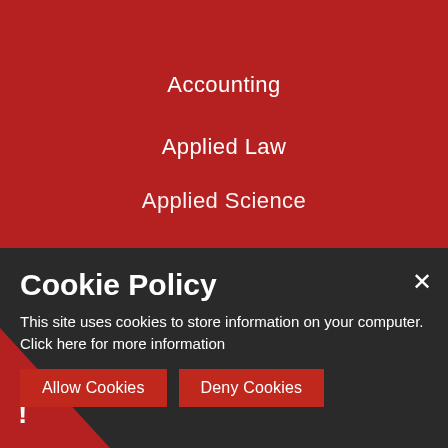Accounting
Applied Law
Applied Science
Cookie Policy
This site uses cookies to store information on your computer. Click here for more information
Allow Cookies
Deny Cookies